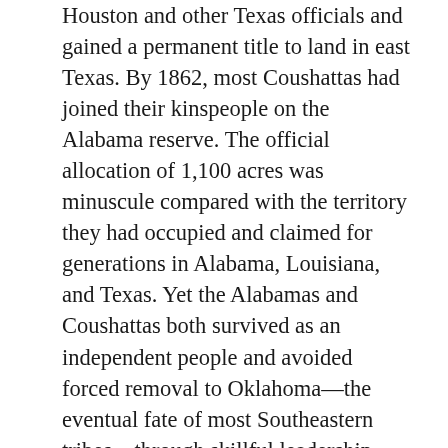Houston and other Texas officials and gained a permanent title to land in east Texas. By 1862, most Coushattas had joined their kinspeople on the Alabama reserve. The official allocation of 1,100 acres was minuscule compared with the territory they had occupied and claimed for generations in Alabama, Louisiana, and Texas. Yet the Alabamas and Coushattas both survived as an independent people and avoided forced removal to Oklahoma—the eventual fate of most Southeastern tribes—through skillful leadership, savvy negotiating, and flexibility. Today, there are three federally recognized Alabama-Coushatta communities: the Alabama-Coushatta Tribe of